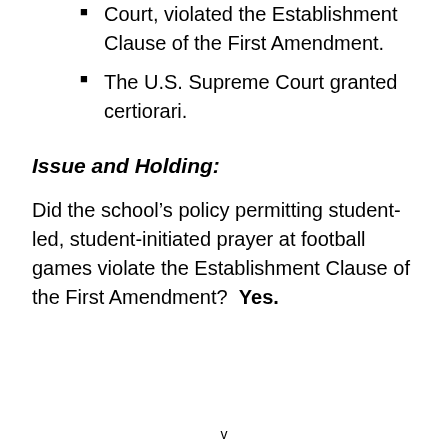Court, violated the Establishment Clause of the First Amendment.
The U.S. Supreme Court granted certiorari.
Issue and Holding:
Did the school's policy permitting student-led, student-initiated prayer at football games violate the Establishment Clause of the First Amendment?  Yes.
v